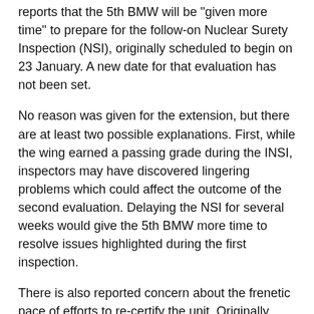reports that the 5th BMW will be "given more time" to prepare for the follow-on Nuclear Surety Inspection (NSI), originally scheduled to begin on 23 January. A new date for that evaluation has not been set.
No reason was given for the extension, but there are at least two possible explanations. First, while the wing earned a passing grade during the INSI, inspectors may have discovered lingering problems which could affect the outcome of the second evaluation. Delaying the NSI for several weeks would give the 5th BMW more time to resolve issues highlighted during the first inspection.
There is also reported concern about the frenetic pace of efforts to re-certify the unit. Originally, both the 5th BMW and its parent organization, Air Combat Command, hope to complete the process by late January, less than three months after the new wing commander (and other key personnel) arrived on base. However, a number of positions remain unfilled, and that was apparently a key factor in pushing back the NSI.
The wing's chief of public affairs, Major Laurie Arellano...